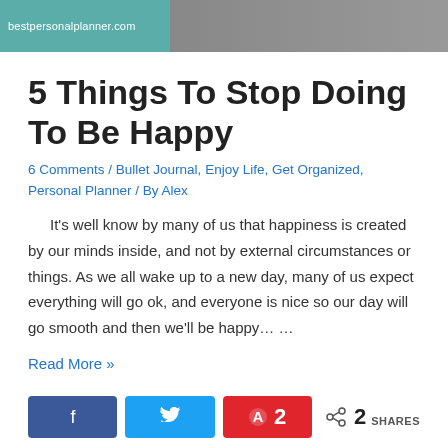[Figure (photo): Header image showing shoes/feet on pavement with bestpersonalplanner.com watermark on teal/green background]
5 Things To Stop Doing To Be Happy
6 Comments / Bullet Journal, Enjoy Life, Get Organized, Personal Planner / By Alex
It's well know by many of us that happiness is created by our minds inside, and not by external circumstances or things. As we all wake up to a new day, many of us expect everything will go ok, and everyone is nice so our day will go smooth and then we'll be happy… …
Read More »
[Figure (infographic): Social share buttons: Facebook (blue), Twitter (blue), Pinterest (red, count: 2), and share count showing 2 SHARES]